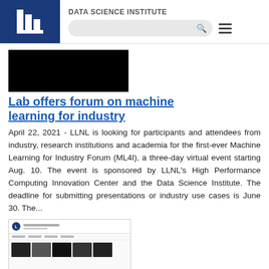DATA SCIENCE INSTITUTE
[Figure (screenshot): Black redacted image placeholder at top of article]
Lab offers forum on machine learning for industry
April 22, 2021 - LLNL is looking for participants and attendees from industry, research institutions and academia for the first-ever Machine Learning for Industry Forum (ML4I), a three-day virtual event starting Aug. 10. The event is sponsored by LLNL’s High Performance Computing Innovation Center and the Data Science Institute. The deadline for submitting presentations or industry use cases is June 30. The...
[Figure (screenshot): Screenshot of Livermore Lab Events webpage showing thumbnails of video content]